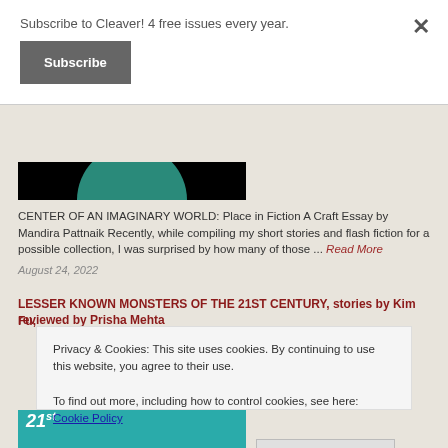Subscribe to Cleaver! 4 free issues every year.
Subscribe
[Figure (photo): Partial book cover image with black background and teal/green circular shape at bottom]
CENTER OF AN IMAGINARY WORLD: Place in Fiction A Craft Essay by Mandira Pattnaik Recently, while compiling my short stories and flash fiction for a possible collection, I was surprised by how many of those ... Read More
August 24, 2022
LESSER KNOWN MONSTERS OF THE 21ST CENTURY, stories by Kim Fu, reviewed by Prisha Mehta
Privacy & Cookies: This site uses cookies. By continuing to use this website, you agree to their use.
To find out more, including how to control cookies, see here: Cookie Policy
Close and accept
[Figure (photo): Partial book cover for '21st' with colorful illustrated artwork]